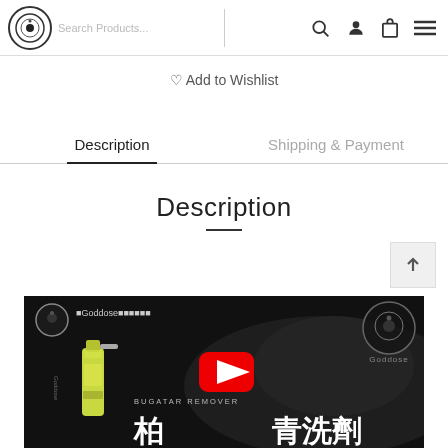Goddose — website header with logo, search, icons, and menu
Add to Wishlist
Description | Shipping & Payment
Description
[Figure (screenshot): YouTube video thumbnail for Goddose bug/tar remover product, showing spray bottle, Chinese product name text, Goddose logo, and YouTube play button overlay]